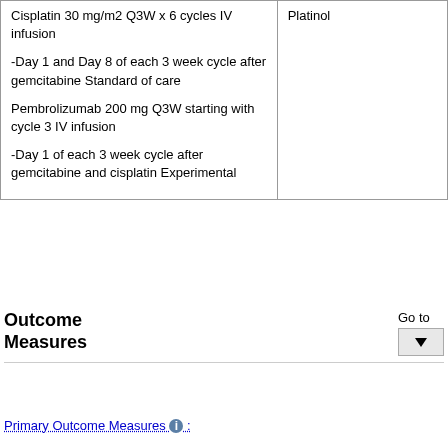|  |  |
| --- | --- |
| Cisplatin 30 mg/m2 Q3W x 6 cycles IV infusion

-Day 1 and Day 8 of each 3 week cycle after gemcitabine Standard of care

Pembrolizumab 200 mg Q3W starting with cycle 3 IV infusion

-Day 1 of each 3 week cycle after gemcitabine and cisplatin Experimental | Platinol |
Outcome Measures
Go to
Primary Outcome Measures :